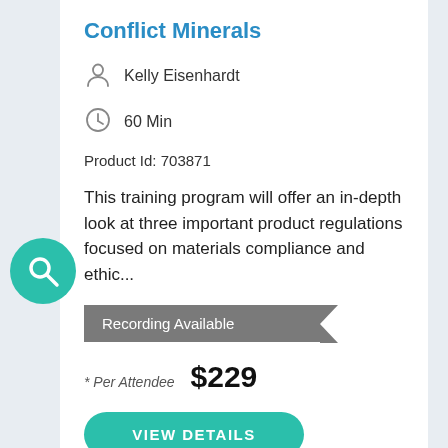Conflict Minerals
Kelly Eisenhardt
60 Min
Product Id: 703871
This training program will offer an in-depth look at three important product regulations focused on materials compliance and ethic...
Recording Available
* Per Attendee  $229
VIEW DETAILS